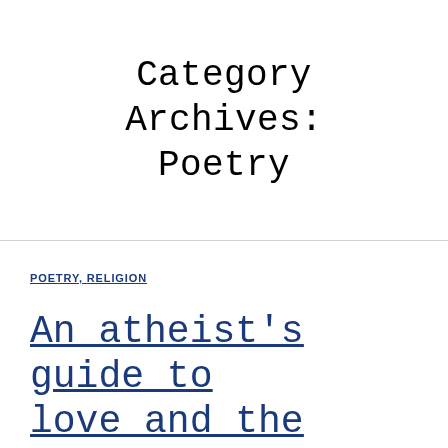Category Archives: Poetry
POETRY, RELIGION
An atheist's guide to love and the after life in free